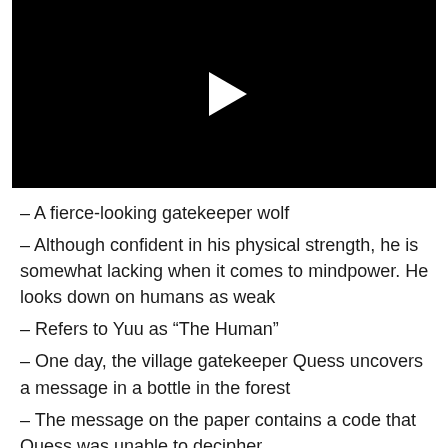[Figure (screenshot): Black video player with white play button triangle in center]
– A fierce-looking gatekeeper wolf
– Although confident in his physical strength, he is somewhat lacking when it comes to mindpower. He looks down on humans as weak
– Refers to Yuu as “The Human”
– One day, the village gatekeeper Quess uncovers a message in a bottle in the forest
– The message on the paper contains a code that Quess was unable to decipher